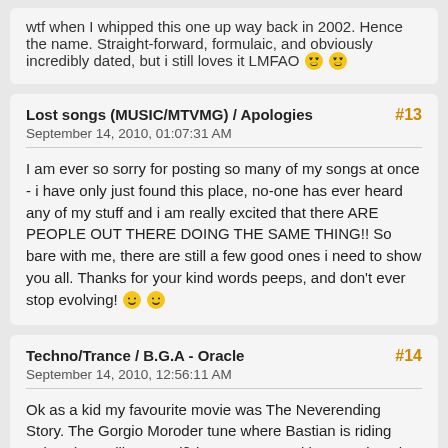wtf when I whipped this one up way back in 2002. Hence the name. Straight-forward, formulaic, and obviously incredibly dated, but i still loves it LMFAO 😎😎
Lost songs (MUSIC/MTVMG) / Apologies
#13
September 14, 2010, 01:07:31 AM
I am ever so sorry for posting so many of my songs at once - i have only just found this place, no-one has ever heard any of my stuff and i am really excited that there ARE PEOPLE OUT THERE DOING THE SAME THING!! So bare with me, there are still a few good ones i need to show you all. Thanks for your kind words peeps, and don't ever stop evolving! 😁😁
Techno/Trance / B.G.A - Oracle
#14
September 14, 2010, 12:56:11 AM
Ok as a kid my favourite movie was The Neverending Story. The Gorgio Moroder tune where Bastian is riding Falcor (more like a motif) is awesome and in 2004, it took me several weeks to get